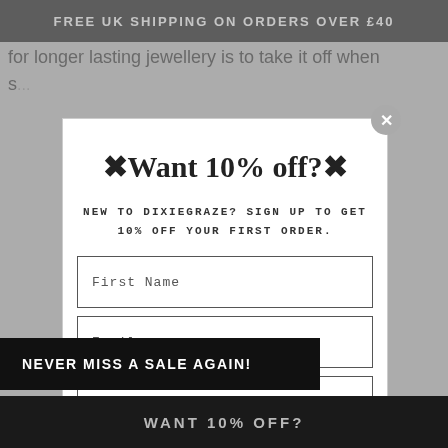FREE UK SHIPPING ON ORDERS OVER £40
for longer lasting jewellery is to take it off when s...
✦Want 10% off?✦
NEW TO DIXIEGRAZE? SIGN UP TO GET 10% OFF YOUR FIRST ORDER.
First Name
Email
Ph...
NEVER MISS A SALE AGAIN!
WANT 10% OFF?